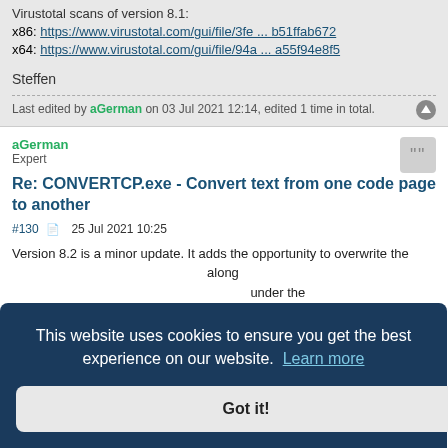Virustotal scans of version 8.1:
x86: https://www.virustotal.com/gui/file/3fe ... b51ffab672
x64: https://www.virustotal.com/gui/file/94a ... a55f94e8f5
Steffen
Last edited by aGerman on 03 Jul 2021 12:14, edited 1 time in total.
aGerman
Expert
Re: CONVERTCP.exe - Convert text from one code page to another
#130  25 Jul 2021 10:25
Version 8.2 is a minor update. It adds the opportunity to overwrite the
along
under the
The functionality is the same as previously recommended, but is
[Figure (screenshot): Cookie consent banner overlay with dark blue background, text 'This website uses cookies to ensure you get the best experience on our website. Learn more' and a 'Got it!' button]